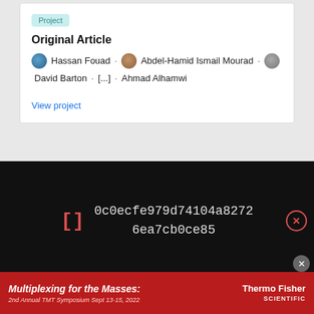Project
Original Article
Hassan Fouad · Abdel-Hamid Ismail Mourad · David Barton · [...] · Ahmad Alhamwi
View project
[Figure (screenshot): Black overlay bar showing hash code: 0c0ecfe979d74104a82726ea7cb0ce85 with red bracket icons and a red close button]
The ultimate goal of this interdisciplinary research project is applying
[Figure (photo): Advertisement banner for Thermo Fisher Scientific: Multiplexing for the Masses: 2nd Annual TMT Symposium Sept 13-15, 2022]